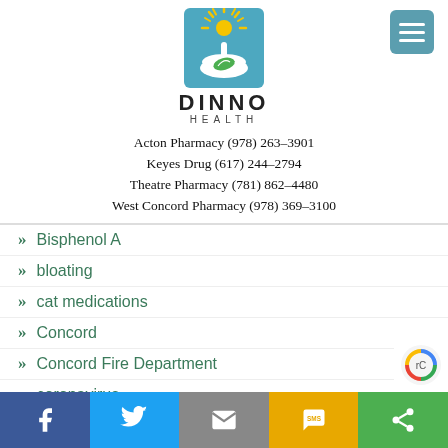[Figure (logo): Dinno Health logo: mortar and pestle with sun and leaf, teal/green/yellow colors]
Acton Pharmacy (978) 263-3901
Keyes Drug (617) 244-2794
Theatre Pharmacy (781) 862-4480
West Concord Pharmacy (978) 369-3100
Bisphenol A
bloating
cat medications
Concord
Concord Fire Department
coronavirus
COVID-19
dementia
digestive problems
Facebook | Twitter | Email | SMS | Share